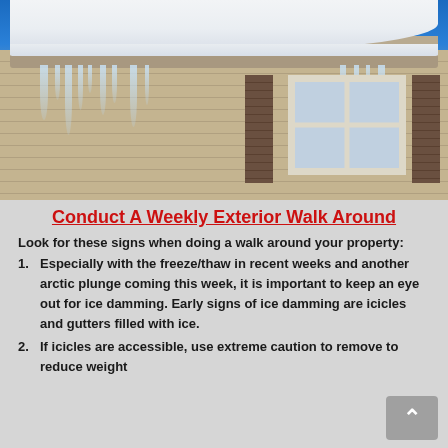[Figure (photo): Photo of a house roofline in winter with icicles hanging from the gutters and heavy snow accumulation on the roof edge, against a blue sky background.]
Conduct A Weekly Exterior Walk Around
Look for these signs when doing a walk around your property:
1. Especially with the freeze/thaw in recent weeks and another arctic plunge coming this week, it is important to keep an eye out for ice damming. Early signs of ice damming are icicles and gutters filled with ice.
2. If icicles are accessible, use extreme caution to remove to reduce weight